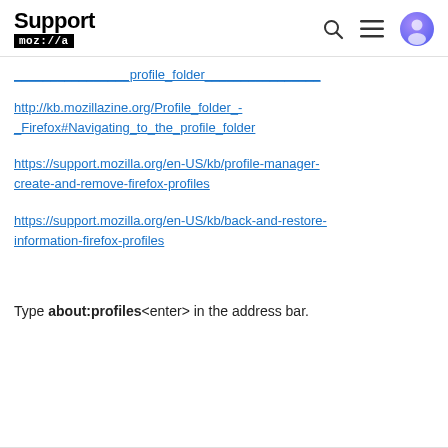Support mozilla://a
http://kb.mozillazine.org/Profile_folder_-_Firefox#Navigating_to_the_profile_folder
https://support.mozilla.org/en-US/kb/profile-manager-create-and-remove-firefox-profiles
https://support.mozilla.org/en-US/kb/back-and-restore-information-firefox-profiles
Type about:profiles<enter> in the address bar.